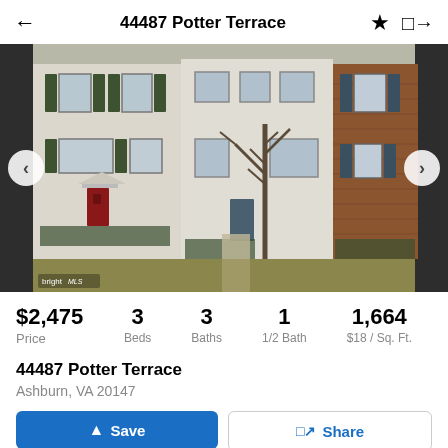44487 Potter Terrace
[Figure (photo): Exterior photo of townhouse row at 44487 Potter Terrace, Ashburn VA. Shows three adjacent townhomes — left unit with cream siding and red door, center with beige siding and blue door with bare tree in front, right with brick facade and dark shutters. Bright MLS watermark in lower left. Navigation arrows on each side.]
$2,475
Price
3 Beds
3 Baths
1 1/2 Bath
1,664 $18 / Sq. Ft.
44487 Potter Terrace
Ashburn, VA 20147
Save   Share